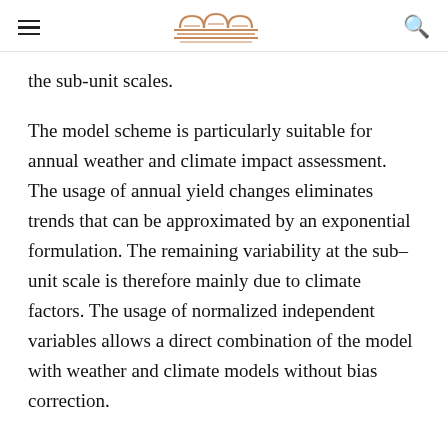[navigation header with logo]
the sub-unit scales.
The model scheme is particularly suitable for annual weather and climate impact assessment. The usage of annual yield changes eliminates trends that can be approximated by an exponential formulation. The remaining variability at the sub–unit scale is therefore mainly due to climate factors. The usage of normalized independent variables allows a direct combination of the model with weather and climate models without bias correction.